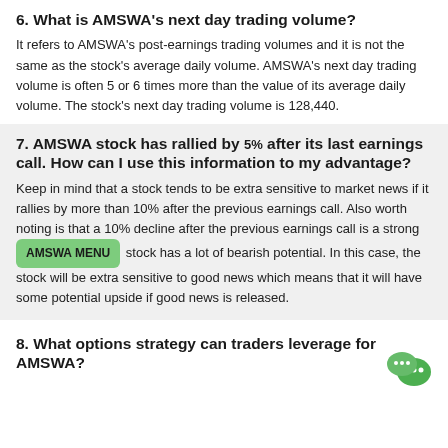6. What is AMSWA's next day trading volume?
It refers to AMSWA's post-earnings trading volumes and it is not the same as the stock's average daily volume. AMSWA's next day trading volume is often 5 or 6 times more than the value of its average daily volume. The stock's next day trading volume is 128,440.
7. AMSWA stock has rallied by 5% after its last earnings call. How can I use this information to my advantage?
Keep in mind that a stock tends to be extra sensitive to market news if it rallies by more than 10% after the previous earnings call. Also worth noting is that a 10% decline after the previous earnings call is a strong [AMSWA MENU] stock has a lot of bearish potential. In this case, the stock will be extra sensitive to good news which means that it will have some potential upside if good news is released.
[Figure (illustration): WeChat green messenger icon with two overlapping chat bubble faces, bottom-right corner]
8. What options strategy can traders leverage for AMSWA?